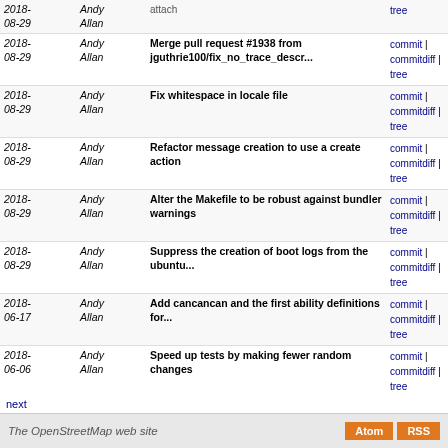| Date | Author | Message | Links |
| --- | --- | --- | --- |
| 2018-08-29 | Andy Allan | Merge pull request #1938 from jguthrie100/fix_no_trace_descr... | commit | commitdiff | tree |
| 2018-08-29 | Andy Allan | Fix whitespace in locale file | commit | commitdiff | tree |
| 2018-08-29 | Andy Allan | Refactor message creation to use a create action | commit | commitdiff | tree |
| 2018-08-29 | Andy Allan | Alter the Makefile to be robust against bundler warnings | commit | commitdiff | tree |
| 2018-08-29 | Andy Allan | Suppress the creation of boot logs from the ubuntu... | commit | commitdiff | tree |
| 2018-06-17 | Andy Allan | Add cancancan and the first ability definitions for... | commit | commitdiff | tree |
| 2018-06-06 | Andy Allan | Speed up tests by making fewer random changes | commit | commitdiff | tree |
| 2018-06-06 | Andy Allan | Prefer the helper in controllers | commit | commitdiff | tree |
| 2018-06-06 | Andy Allan | Fix lazy i18n lookups for browse error pages | commit | commitdiff | tree |
| 2018-06-06 | Andy Allan | Fix missing message translation strings | commit | commitdiff | tree |
| 2018-06-06 | Andy Allan | Refactor messages show action to be resourceful | commit | commitdiff | tree |
next
The OpenStreetMap web site